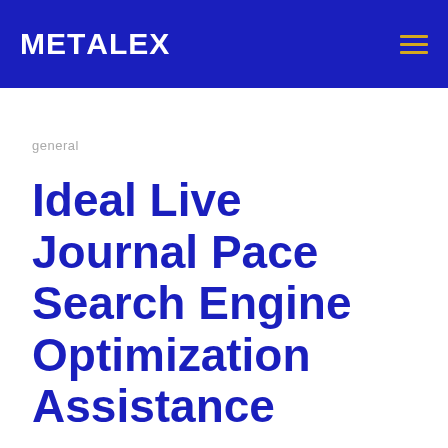METALEX
general
Ideal Live Journal Pace Search Engine Optimization Assistance